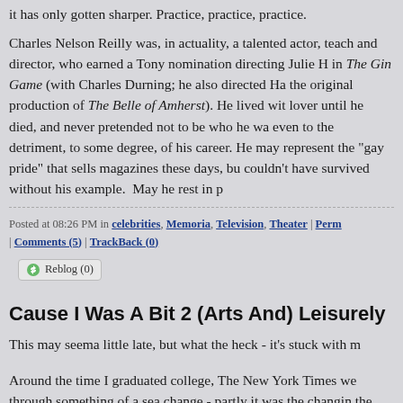it has only gotten sharper. Practice, practice, practice.
Charles Nelson Reilly was, in actuality, a talented actor, teacher and director, who earned a Tony nomination directing Julie Harris in The Gin Game (with Charles Durning; he also directed Harris in the original production of The Belle of Amherst). He lived with his lover until he died, and never pretended not to be who he was, even to the detriment, to some degree, of his career. He may not represent the "gay pride" that sells magazines these days, but I couldn't have survived without his example. May he rest in peace.
Posted at 08:26 PM in celebrities, Memoria, Television, Theater | Perm | Comments (5) | TrackBack (0)
Reblog (0)
Cause I Was A Bit 2 (Arts And) Leisurely
This may seema little late, but what the heck - it's stuck with me.
Around the time I graduated college, The New York Times went through something of a sea change - partly it was the changing of the guard at the top of the paper - Arthur "Pinch" Sulzberger,